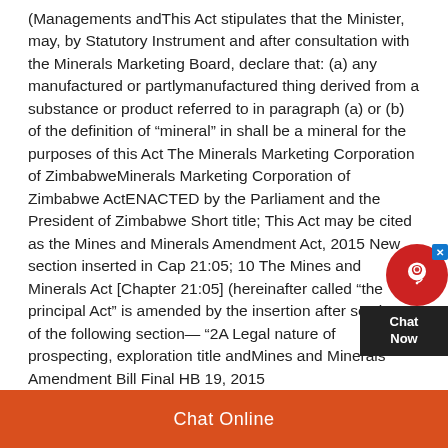(Managements andThis Act stipulates that the Minister, may, by Statutory Instrument and after consultation with the Minerals Marketing Board, declare that: (a) any manufactured or partlymanufactured thing derived from a substance or product referred to in paragraph (a) or (b) of the definition of “mineral” in shall be a mineral for the purposes of this Act The Minerals Marketing Corporation of ZimbabweMinerals Marketing Corporation of Zimbabwe ActENACTED by the Parliament and the President of Zimbabwe Short title; This Act may be cited as the Mines and Minerals Amendment Act, 2015 New section inserted in Cap 21:05; 10 The Mines and Minerals Act [Chapter 21:05] (hereinafter called “the principal Act” is amended by the insertion after section 2 of the following section— “2A Legal nature of prospecting, exploration title andMines and Minerals Amendment Bill Final HB 19, 2015
Chat Online